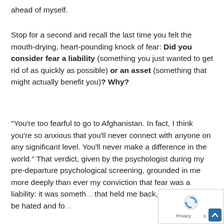ahead of myself.
Stop for a second and recall the last time you felt the mouth-drying, heart-pounding knock of fear: Did you consider fear a liability (something you just wanted to get rid of as quickly as possible) or an asset (something that might actually benefit you)? Why?
"You're too fearful to go to Afghanistan. In fact, I think you're so anxious that you'll never connect with anyone on any significant level. You'll never make a difference in the world." That verdict, given by the psychologist during my pre-departure psychological screening, grounded in me more deeply than ever my conviction that fear was a liability: it was someth... that held me back, something to be hated and fo...